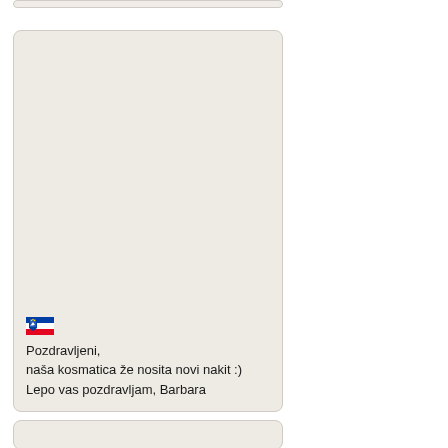[Figure (other): Top partial card with light beige background, cut off at top of page]
[Figure (photo): Large card with light beige background containing a Slovenian flag emoji and a text message in Slovenian]
Pozdravljeni,
naša kosmatica že nosita novi nakit :)
Lepo vas pozdravljam, Barbara
[Figure (other): Bottom partial card with light beige background, cut off at bottom of page]